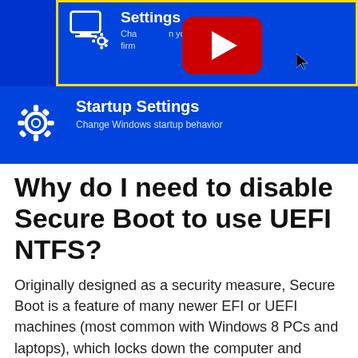[Figure (screenshot): Screenshot of Windows UEFI Firmware Settings and Startup Settings menu on a blue background. The top tile shows 'Settings' with subtitle about changing PC's UEFI firmware settings, highlighted with a yellow border, and a YouTube play button overlay. Below is 'Startup Settings' tile with subtitle 'Change Windows startup behavior' and a gear icon.]
Why do I need to disable Secure Boot to use UEFI NTFS?
Originally designed as a security measure, Secure Boot is a feature of many newer EFI or UEFI machines (most common with Windows 8 PCs and laptops), which locks down the computer and prevents it from booting into anything but Windows 8. It is often necessary to disable Secure Boot to